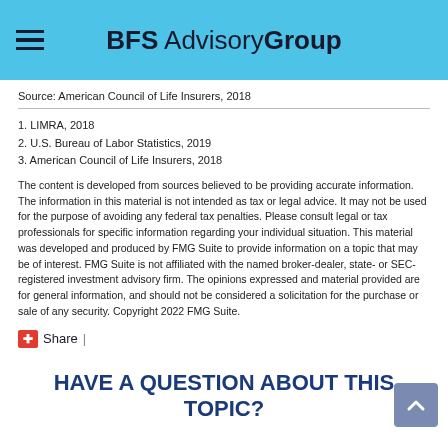BFS Advisory Group
Source: American Council of Life Insurers, 2018
1. LIMRA, 2018
2. U.S. Bureau of Labor Statistics, 2019
3. American Council of Life Insurers, 2018
The content is developed from sources believed to be providing accurate information. The information in this material is not intended as tax or legal advice. It may not be used for the purpose of avoiding any federal tax penalties. Please consult legal or tax professionals for specific information regarding your individual situation. This material was developed and produced by FMG Suite to provide information on a topic that may be of interest. FMG Suite is not affiliated with the named broker-dealer, state- or SEC-registered investment advisory firm. The opinions expressed and material provided are for general information, and should not be considered a solicitation for the purchase or sale of any security. Copyright 2022 FMG Suite.
Share |
HAVE A QUESTION ABOUT THIS TOPIC?